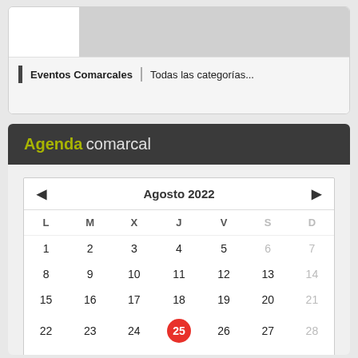[Figure (screenshot): Top widget with gray image area and white left panel]
Eventos Comarcales  Todas las categorías...
Agenda comarcal
[Figure (other): Calendar widget showing Agosto 2022 with day 25 highlighted in red circle]